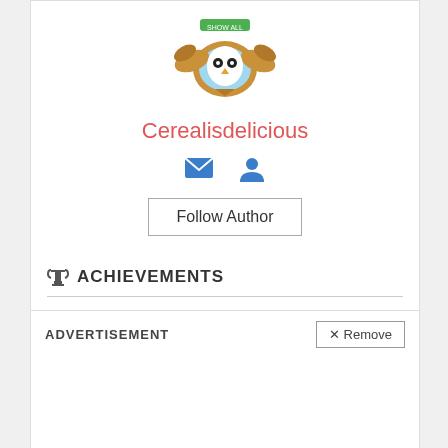[Figure (illustration): Game avatar badge with owl character inside a bronze decorative shield/crest with wings]
Cerealisdelicious
[Figure (illustration): Blue envelope/mail icon and blue user/person icon]
Follow Author
ACHIEVEMENTS
[Figure (illustration): Five achievement badge icons in a row: bronze badge, gold badge, gold badge, silver badge, bronze badge]
ADVERTISEMENT
✕ Remove